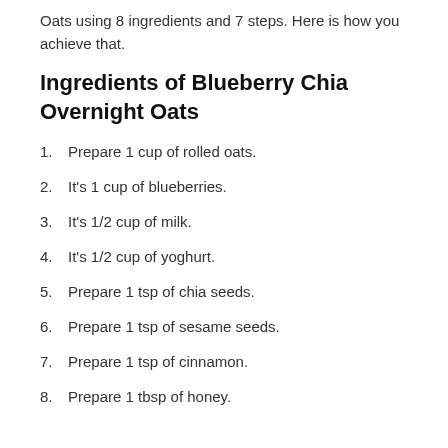Oats using 8 ingredients and 7 steps. Here is how you achieve that.
Ingredients of Blueberry Chia Overnight Oats
Prepare 1 cup of rolled oats.
It's 1 cup of blueberries.
It's 1/2 cup of milk.
It's 1/2 cup of yoghurt.
Prepare 1 tsp of chia seeds.
Prepare 1 tsp of sesame seeds.
Prepare 1 tsp of cinnamon.
Prepare 1 tbsp of honey.